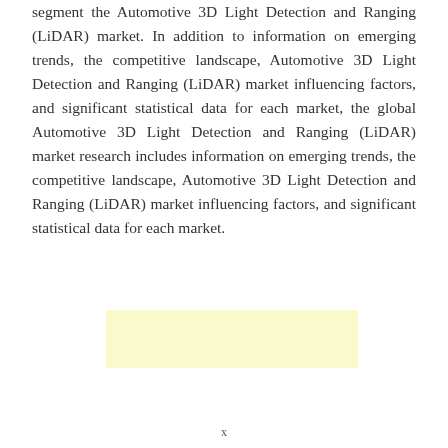segment the Automotive 3D Light Detection and Ranging (LiDAR) market. In addition to information on emerging trends, the competitive landscape, Automotive 3D Light Detection and Ranging (LiDAR) market influencing factors, and significant statistical data for each market, the global Automotive 3D Light Detection and Ranging (LiDAR) market research includes information on emerging trends, the competitive landscape, Automotive 3D Light Detection and Ranging (LiDAR) market influencing factors, and significant statistical data for each market.
[Figure (other): Yellow/cream colored rectangular box, likely a placeholder or advertisement area]
x